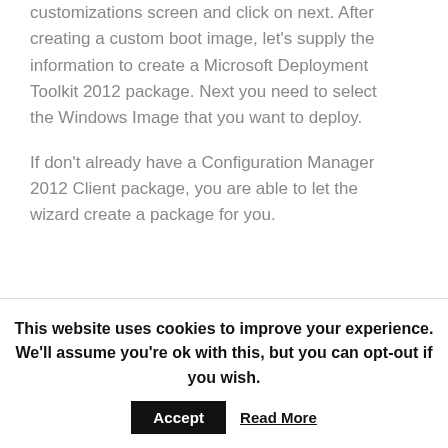customizations screen and click on next. After creating a custom boot image, let's supply the information to create a Microsoft Deployment Toolkit 2012 package. Next you need to select the Windows Image that you want to deploy.
If don't already have a Configuration Manager 2012 Client package, you are able to let the wizard create a package for you.
[Figure (screenshot): Screenshot of 'Create MDT Task Sequence' wizard dialog showing 'Client Package' step with a blue icon on the left.]
This website uses cookies to improve your experience. We'll assume you're ok with this, but you can opt-out if you wish.